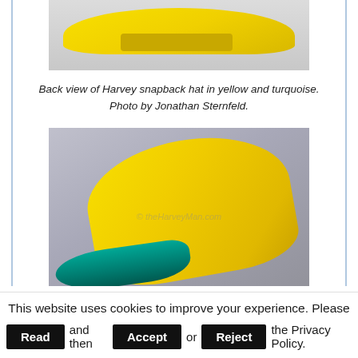[Figure (photo): Back view of a yellow Harvey snapback hat with character embroideries, shown from behind against a light background.]
Back view of Harvey snapback hat in yellow and turquoise. Photo by Jonathan Sternfeld.
[Figure (photo): Side/front view of a yellow Harvey snapback hat with teal brim, lying on its side showing cartoon character embroideries. Watermark: © theHarveyMan.com]
This website uses cookies to improve your experience. Please Read and then Accept or Reject the Privacy Policy.